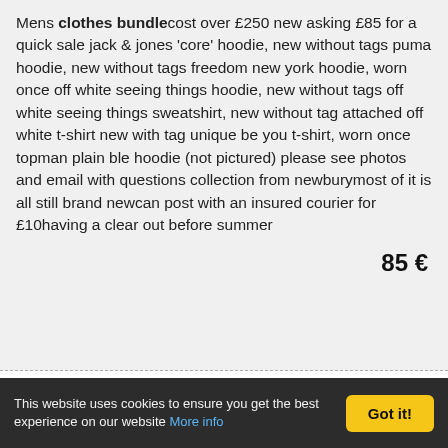Mens clothes bundle cost over £250 new asking £85 for a quick sale jack & jones 'core' hoodie, new without tags puma hoodie, new without tags freedom new york hoodie, worn once off white seeing things hoodie, new without tags off white seeing things sweatshirt, new without tag attached off white t-shirt new with tag unique be you t-shirt, worn once topman plain ble hoodie (not pictured) please see photos and email with questions collection from newbury most of it is all still brand new can post with an insured courier for £10 having a clear out before summer
85 €
This website uses cookies to ensure you get the best experience on our website More info